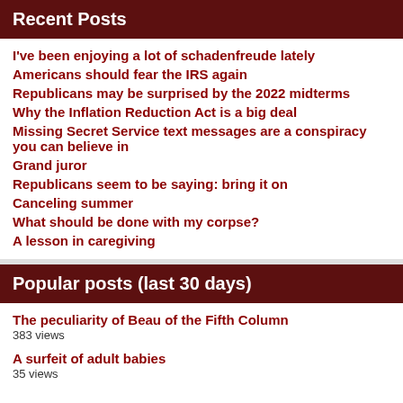Recent Posts
I've been enjoying a lot of schadenfreude lately
Americans should fear the IRS again
Republicans may be surprised by the 2022 midterms
Why the Inflation Reduction Act is a big deal
Missing Secret Service text messages are a conspiracy you can believe in
Grand juror
Republicans seem to be saying: bring it on
Canceling summer
What should be done with my corpse?
A lesson in caregiving
Popular posts (last 30 days)
The peculiarity of Beau of the Fifth Column
383 views
A surfeit of adult babies
35 views